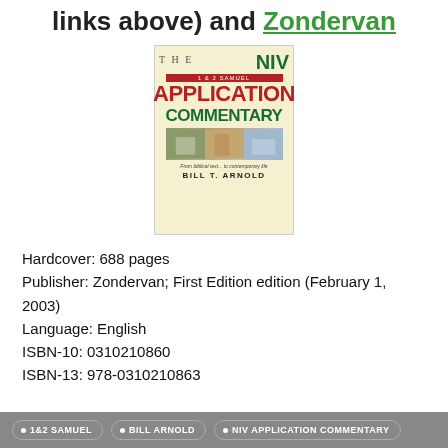links above) and Zondervan
[Figure (photo): Book cover of 'The NIV Application Commentary: 1 & 2 Samuel' by Bill T. Arnold, published by Zondervan. Cover features bold red and green text on a cream background with a photo strip at the bottom.]
Hardcover: 688 pages
Publisher: Zondervan; First Edition edition (February 1, 2003)
Language: English
ISBN-10: 0310210860
ISBN-13: 978-0310210863
• 1&2 SAMUEL  • BILL ARNOLD  • NIV APPLICATION COMMENTARY